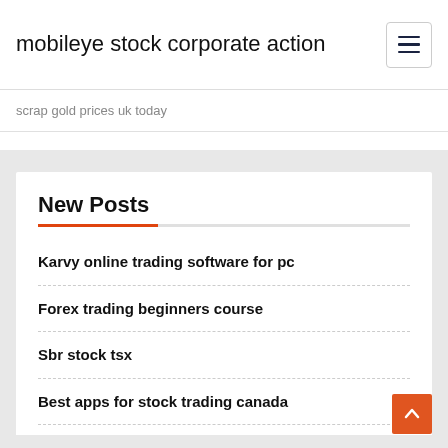mobileye stock corporate action
scrap gold prices uk today
New Posts
Karvy online trading software for pc
Forex trading beginners course
Sbr stock tsx
Best apps for stock trading canada
The stock market is not the economy